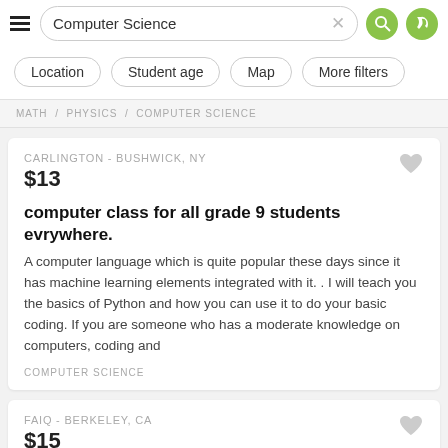Computer Science
Location  Student age  Map  More filters
MATH  PHYSICS  COMPUTER SCIENCE
CARLINGTON - BUSHWICK, NY
$13
computer class for all grade 9 students evrywhere.
A computer language which is quite popular these days since it has machine learning elements integrated with it. . I will teach you the basics of Python and how you can use it to do your basic coding. If you are someone who has a moderate knowledge on computers, coding and
COMPUTER SCIENCE
FAIQ - BERKELEY, CA
$15
IT Professional (IT Support) a prep course for